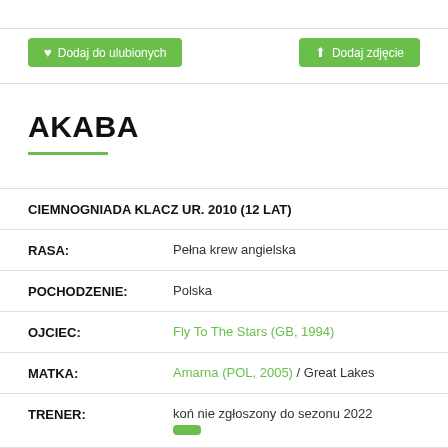Dodaj do ulubionych
Dodaj zdjęcie
AKABA
CIEMNOGNIADA KLACZ UR. 2010 (12 LAT)
| RASA: | Pełna krew angielska |
| POCHODZENIE: | Polska |
| OJCIEC: | Fly To The Stars (GB, 1994) |
| MATKA: | Amarna (POL, 2005) / Great Lakes |
| TRENER: | koń nie zgłoszony do sezonu 2022 |